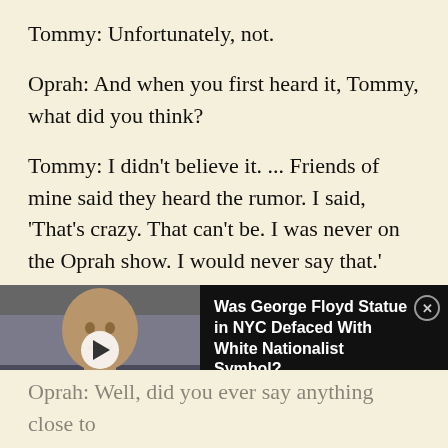Tommy: Unfortunately, not.
Oprah: And when you first heard it, Tommy, what did you think?
Tommy: I didn't believe it. ... Friends of mine said they heard the rumor. I said, ‘That’s crazy. That can’t be. I was never on the Oprah show. I would never say that.’ And all my friends and family who
[Figure (screenshot): Video overlay showing a George Floyd statue bust with a play button. Alongside is a dark panel with text reading 'Was George Floyd Statue in NYC Defaced With White Nationalist Symbol?' and a close button.]
Oprah: Well, did you ever say anything close to that? Where do you think this originated?